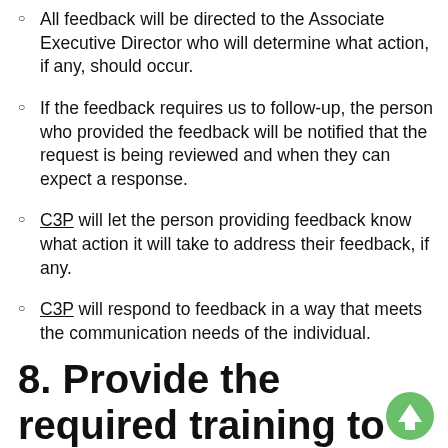All feedback will be directed to the Associate Executive Director who will determine what action, if any, should occur.
If the feedback requires us to follow-up, the person who provided the feedback will be notified that the request is being reviewed and when they can expect a response.
C3P will let the person providing feedback know what action it will take to address their feedback, if any.
C3P will respond to feedback in a way that meets the communication needs of the individual.
8. Provide the required training to